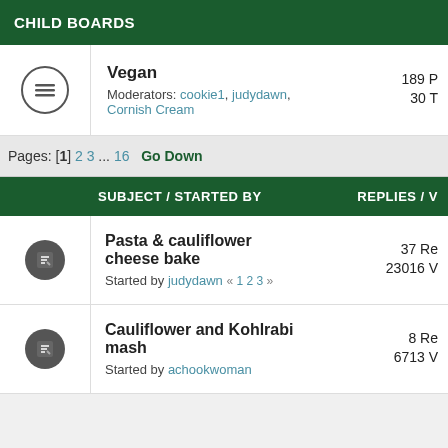CHILD BOARDS
|  | Board | Stats |
| --- | --- | --- |
| [icon] | Vegan
Moderators: cookie1, judydawn, Cornish Cream | 189 P
30 T |
Pages: [1] 2 3 ... 16   Go Down
|  | SUBJECT / STARTED BY | REPLIES / V |
| --- | --- | --- |
| [icon] | Pasta & cauliflower cheese bake
Started by judydawn « 1 2 3 » | 37 Re
23016 V |
| [icon] | Cauliflower and Kohlrabi mash
Started by achookwoman | 8 Re
6713 V |